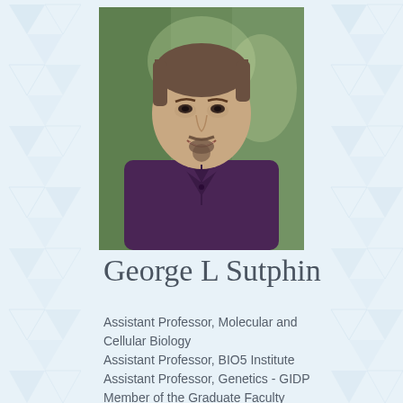[Figure (photo): Headshot of George L Sutphin, a man with short hair and a goatee, wearing a dark purple button-up shirt, smiling, with a blurred green outdoor background.]
George L Sutphin
Assistant Professor, Molecular and Cellular Biology
Assistant Professor, BIO5 Institute
Assistant Professor, Genetics - GIDP
Member of the Graduate Faculty
Assistant Professor, Cancer Biology -